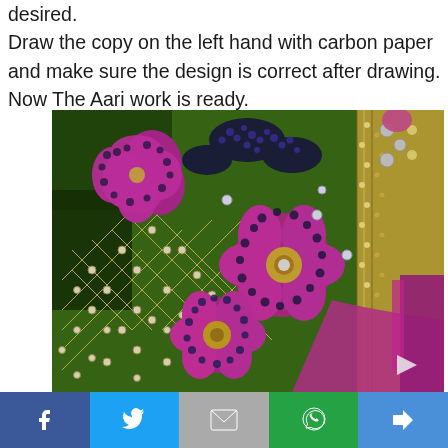desired.
Draw the copy on the left hand with carbon paper and make sure the design is correct after drawing.
Now The Aari work is ready.
[Figure (photo): Photo of green fabric with Aari embroidery work featuring magenta/pink flowers outlined with dark beads, a diamond lattice pattern with pearl beads, and gold zari border on the right side with magenta fabric visible.]
Facebook | Twitter | Gmail | WhatsApp | Share